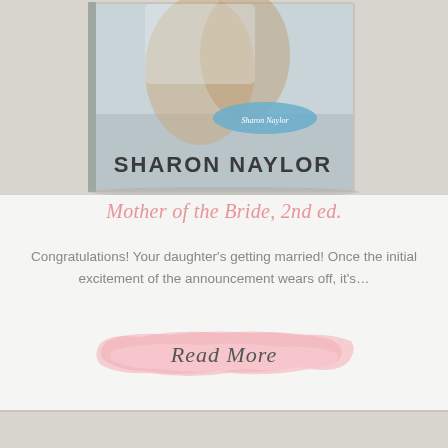[Figure (photo): Book cover photo of 'Mother of the Bride, 2nd ed.' by Sharon Naylor, showing a bride and mother embracing, with the book title and author name visible on the cover.]
Mother of the Bride, 2nd ed.
Congratulations! Your daughter's getting married! Once the initial excitement of the announcement wears off, it's…
[Figure (illustration): Pink watercolor brush stroke background with cursive text 'Read More' overlaid in dark gray.]
[Figure (photo): Partial view of another book or image at the bottom of the page, showing a light gray/beige background.]